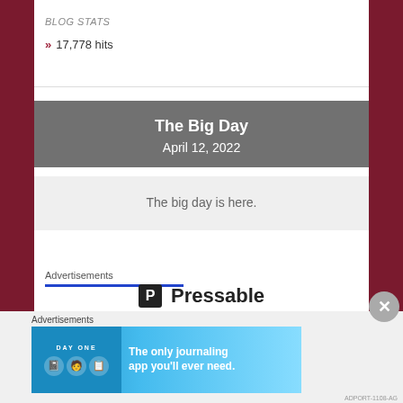BLOG STATS
» 17,778 hits
The Big Day
April 12, 2022
The big day is here.
Advertisements
[Figure (logo): Pressable logo with P icon and brand name]
Advertisements
[Figure (infographic): Day One journaling app banner ad: The only journaling app you'll ever need.]